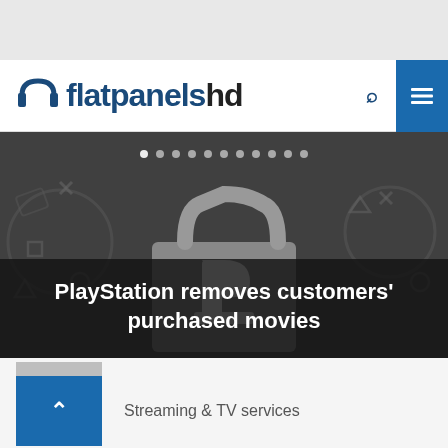flatpanelshd
[Figure (screenshot): PlayStation Store shopping bag graphic with PlayStation logo on dark gray background]
PlayStation removes customers' purchased movies
Streaming & TV services